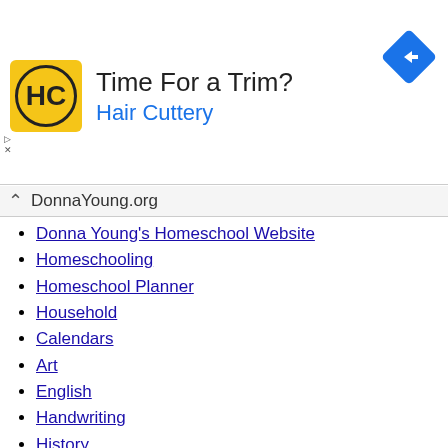[Figure (infographic): Hair Cuttery advertisement banner with yellow HC logo, text 'Time For a Trim?' and 'Hair Cuttery' in blue, with a blue navigation/directions diamond icon on the right]
DonnaYoung.org
Donna Young's Homeschool Website
Homeschooling
Homeschool Planner
Household
Calendars
Art
English
Handwriting
History
Math
Science
What's New
Site Index
HS Planner Index
Art Index
English Index
All Calendar Index